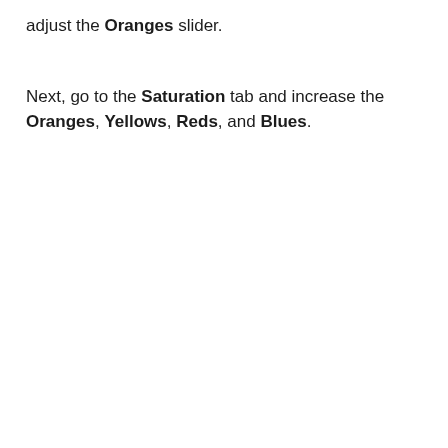adjust the Oranges slider.
Next, go to the Saturation tab and increase the Oranges, Yellows, Reds, and Blues.